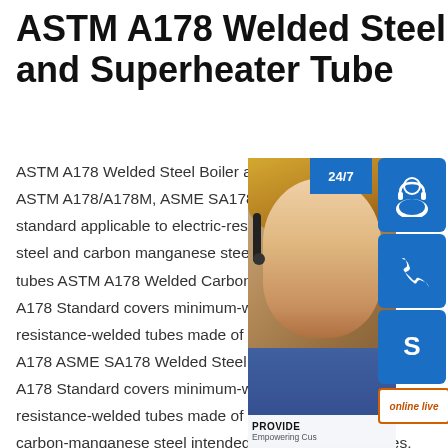ASTM A178 Welded Steel Boiler and Superheater Tube
ASTM A178 Welded Steel Boiler and Su… ASTM A178/A178M, ASME SA178/SA… standard applicable to electric-resistance… steel and carbon manganese steel boiler… tubes ASTM A178 Welded Carbon Steel… A178 Standard covers minimum-wall-th… resistance-welded tubes made of carbon… A178 ASME SA178 Welded Steel Boile… A178 Standard covers minimum-wall-thickness, ele…-resistance-welded tubes made of carbon steel and… carbon-manganese steel intended for use as boiler tubes, boiler flues, superheater flues, and safe ends.sp.info A178 Boiler Tube, Carbon-Manganese Steel Boiler and
[Figure (infographic): Customer service widget showing a female agent with headset, 24/7 support label, phone icon, Skype icon, and 'online live' button]